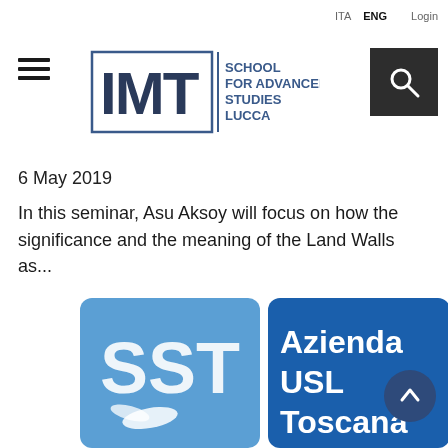ITA  ENG  Login
[Figure (logo): IMT School for Advanced Studies Lucca logo with hamburger menu icon]
6 May 2019
In this seminar, Asu Aksoy will focus on how the significance and the meaning of the Land Walls as...
[Figure (photo): SST Azienda USL Toscana logo/banner with seagull image on blue background]